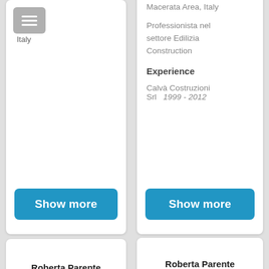[Figure (screenshot): Menu button icon with horizontal bars on grey rounded rectangle, labeled 'Italy']
Macerata Area, Italy
Professionista nel settore Edilizia Construction
Experience
Calvà Costruzioni Srl   1999 - 2012
Show more
Show more
Roberta Parente
Roberta Parente